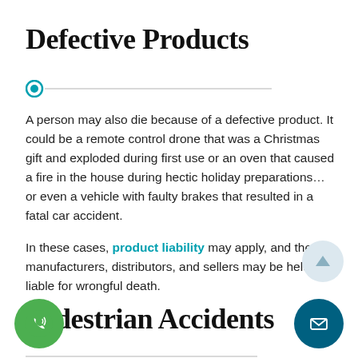Defective Products
A person may also die because of a defective product. It could be a remote control drone that was a Christmas gift and exploded during first use or an oven that caused a fire in the house during hectic holiday preparations… or even a vehicle with faulty brakes that resulted in a fatal car accident.
In these cases, product liability may apply, and the manufacturers, distributors, and sellers may be held liable for wrongful death.
Pedestrian Accidents